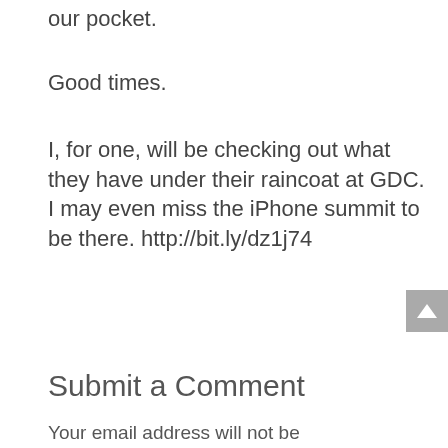our pocket.
Good times.
I, for one, will be checking out what they have under their raincoat at GDC. I may even miss the iPhone summit to be there. http://bit.ly/dz1j74
Submit a Comment
Your email address will not be